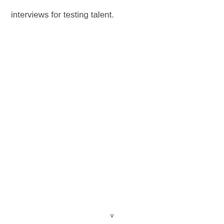interviews for testing talent.
v